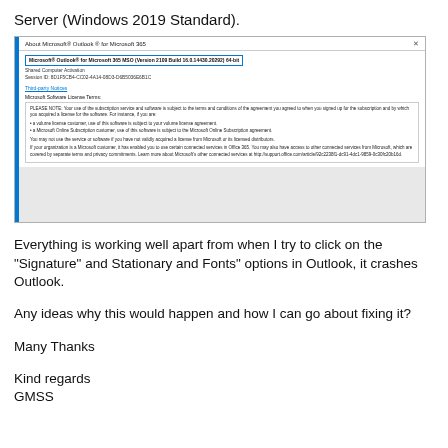Server (Windows 2019 Standard).
[Figure (screenshot): Screenshot of Microsoft Outlook 'About Microsoft Outlook for Microsoft 365' dialog box showing version 2109 Build 16.0.14430.20292 64-bit with license terms text.]
Everything is working well apart from when I try to click on the "Signature" and Stationary and Fonts" options in Outlook, it crashes Outlook.
Any ideas why this would happen and how I can go about fixing it?
Many Thanks
Kind regards
GMSS